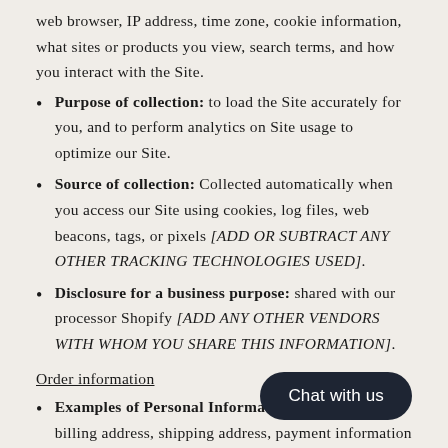web browser, IP address, time zone, cookie information, what sites or products you view, search terms, and how you interact with the Site.
Purpose of collection: to load the Site accurately for you, and to perform analytics on Site usage to optimize our Site.
Source of collection: Collected automatically when you access our Site using cookies, log files, web beacons, tags, or pixels [ADD OR SUBTRACT ANY OTHER TRACKING TECHNOLOGIES USED].
Disclosure for a business purpose: shared with our processor Shopify [ADD ANY OTHER VENDORS WITH WHOM YOU SHARE THIS INFORMATION].
Order information
Examples of Personal Information collected: name, billing address, shipping address, payment information